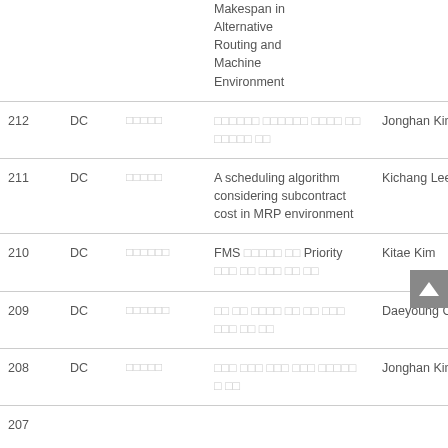| # | Type | Korean | Title | Author |
| --- | --- | --- | --- | --- |
|  |  |  | Makespan in Alternative Routing and Machine Environment |  |
| 212 | DC | □□□□□ | □□□□□□ □□□□□□ □□□□ □□ □□□□□ □□ | Jonghan Kim |
| 211 | DC | □□□□□ | A scheduling algorithm considering subcontract cost in MRP environment | Kichang Lee |
| 210 | DC | □□□□□□ | FMS □□□□□ □□ Priority □□□ □□ □□□ □□ □□ | Kitae Kim |
| 209 | DC | □□□□□□ | □□ □□ □□□□ □□ □□ □□□ □□□ □□ □□ | Daeyoung Ch |
| 208 | DC | □□□□□ | □□□ □□□ □□□ □□□ □□□□□ □□□ | Jonghan Kim |
| 207 |  |  |  |  |